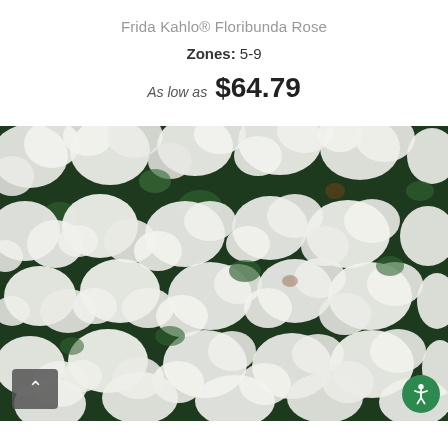Frida Kahlo® Floribunda Rose
Zones: 5-9
As low as $64.79
[Figure (photo): Dense cluster of white fluffy rose blooms with green foliage visible between flowers, filling the entire frame. Photo of Frida Kahlo® Floribunda Rose plant in bloom.]